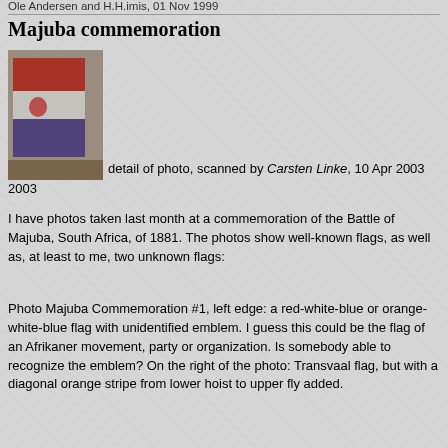Ole Andersen and H.H.imis, 01 Nov 1999
Majuba commemoration
[Figure (photo): Detail of a flag photo showing a red-white-blue or orange-white-blue flag with unidentified emblem, taken at Majuba commemoration]
detail of photo, scanned by Carsten Linke, 10 Apr 2003
I have photos taken last month at a commemoration of the Battle of Majuba, South Africa, of 1881. The photos show well-known flags, as well as, at least to me, two unknown flags:
Photo Majuba Commemoration #1, left edge: a red-white-blue or orange-white-blue flag with unidentified emblem. I guess this could be the flag of an Afrikaner movement, party or organization. Is somebody able to recognize the emblem? On the right of the photo: Transvaal flag, but with a diagonal orange stripe from lower hoist to upper fly added.